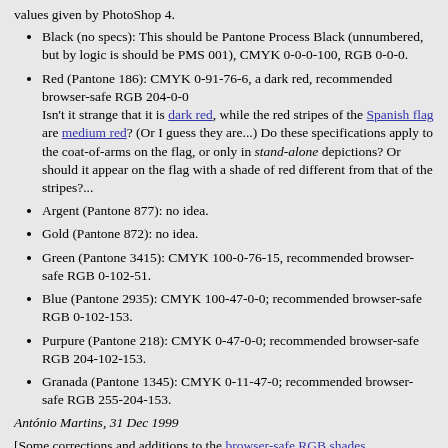values given by PhotoShop 4.
Black (no specs): This should be Pantone Process Black (unnumbered, but by logic is should be PMS 001), CMYK 0-0-0-100, RGB 0-0-0.
Red (Pantone 186): CMYK 0-91-76-6, a dark red, recommended browser-safe RGB 204-0-0
Isn't it strange that it is dark red, while the red stripes of the Spanish flag are medium red? (Or I guess they are...) Do these specifications apply to the coat-of-arms on the flag, or only in stand-alone depictions? Or should it appear on the flag with a shade of red different from that of the stripes?...
Argent (Pantone 877): no idea.
Gold (Pantone 872): no idea.
Green (Pantone 3415): CMYK 100-0-76-15, recommended browser-safe RGB 0-102-51.
Blue (Pantone 2935): CMYK 100-47-0-0; recommended browser-safe RGB 0-102-153.
Purpure (Pantone 218): CMYK 0-47-0-0; recommended browser-safe RGB 204-102-153.
Granada (Pantone 1345): CMYK 0-11-47-0; recommended browser-safe RGB 255-204-153.
António Martins, 31 Dec 1999
[Some corrections and additions to the browser-safe RGB shades